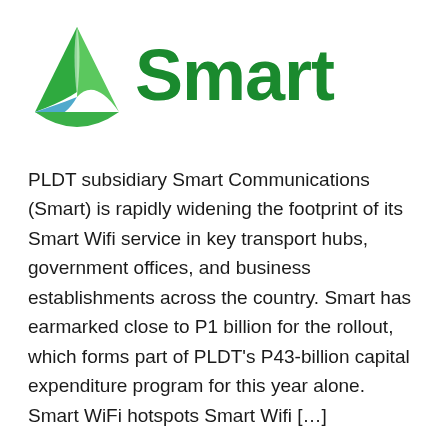[Figure (logo): Smart Communications logo: triangular icon in green and blue colors with the word 'Smart' in bold green text]
PLDT subsidiary Smart Communications (Smart) is rapidly widening the footprint of its Smart Wifi service in key transport hubs, government offices, and business establishments across the country. Smart has earmarked close to P1 billion for the rollout, which forms part of PLDT's P43-billion capital expenditure program for this year alone. Smart WiFi hotspots Smart Wifi […]